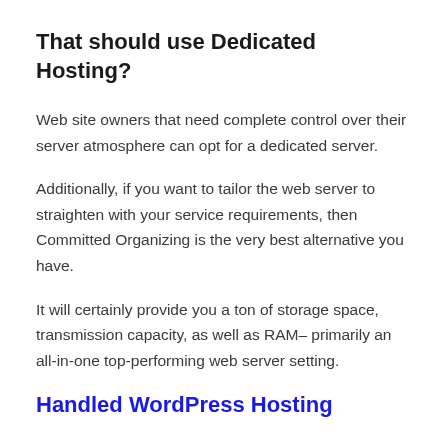That should use Dedicated Hosting?
Web site owners that need complete control over their server atmosphere can opt for a dedicated server.
Additionally, if you want to tailor the web server to straighten with your service requirements, then Committed Organizing is the very best alternative you have.
It will certainly provide you a ton of storage space, transmission capacity, as well as RAM– primarily an all-in-one top-performing web server setting.
Handled WordPress Hosting
If you plan to develop a WordPress site, took care of WordPress